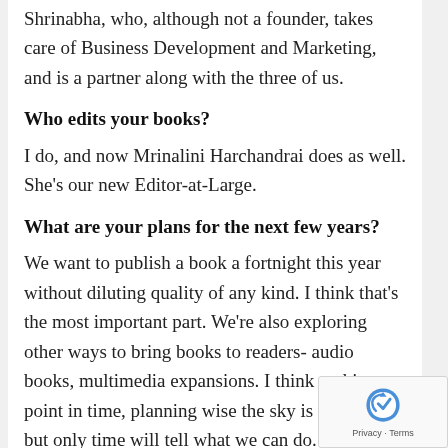Shrinabha, who, although not a founder, takes care of Business Development and Marketing, and is a partner along with the three of us.
Who edits your books?
I do, and now Mrinalini Harchandrai does as well. She's our new Editor-at-Large.
What are your plans for the next few years?
We want to publish a book a fortnight this year without diluting quality of any kind. I think that's the most important part. We're also exploring other ways to bring books to readers- audio books, multimedia expansions. I think at this point in time, planning wise the sky is the limit, but only time will tell what we can do.
Now that Mrinalini and I are both